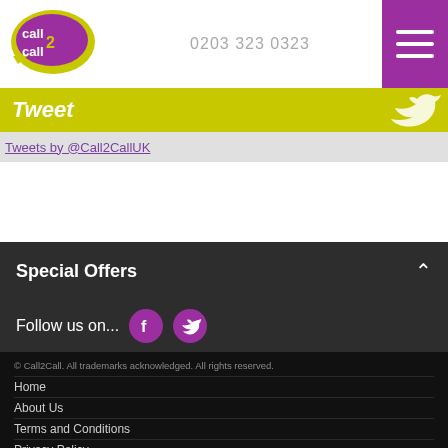0203 323 0323
[Figure (logo): Call2Call logo - yellow and purple speech bubble with 'call 2 call' text]
Tweet
Tweets by @Call2CallUK
Special Offers
Follow us on...
© Call2Call. All trademarks acknowledged. All rights reserved.
Home
About Us
Terms and Conditions
Privacy Policy